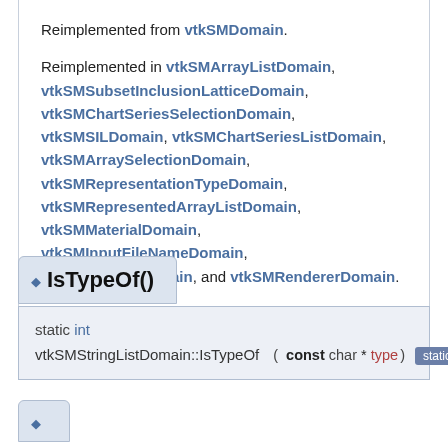Reimplemented from vtkSMDomain. Reimplemented in vtkSMArrayListDomain, vtkSMSubsetInclusionLatticeDomain, vtkSMChartSeriesSelectionDomain, vtkSMSILDomain, vtkSMChartSeriesListDomain, vtkSMArraySelectionDomain, vtkSMRepresentationTypeDomain, vtkSMRepresentedArrayListDomain, vtkSMMaterialDomain, vtkSMInputFileNameDomain, vtkSMFileListDomain, and vtkSMRendererDomain.
IsTypeOf()
static int vtkSMStringListDomain::IsTypeOf ( const char * type ) static